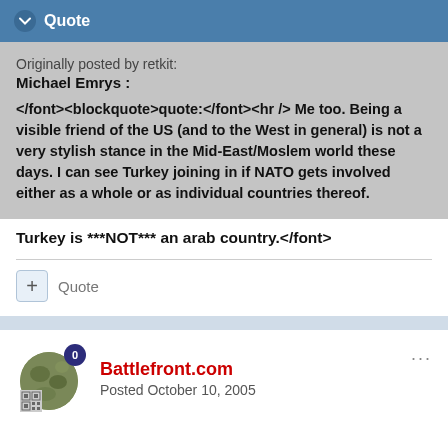Quote
Originally posted by retkit:
Michael Emrys :

</font><blockquote>quote:</font><hr /> Me too. Being a visible friend of the US (and to the West in general) is not a very stylish stance in the Mid-East/Moslem world these days. I can see Turkey joining in if NATO gets involved either as a whole or as individual countries thereof.
Turkey is ***NOT*** an arab country.</font>
Quote
Battlefront.com
Posted October 10, 2005